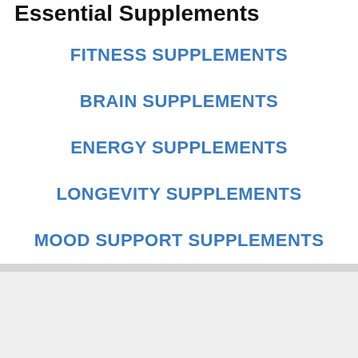Essential Supplements
FITNESS SUPPLEMENTS
BRAIN SUPPLEMENTS
ENERGY SUPPLEMENTS
LONGEVITY SUPPLEMENTS
MOOD SUPPORT SUPPLEMENTS
Thank you for visiting. You can now buy me a coffee!